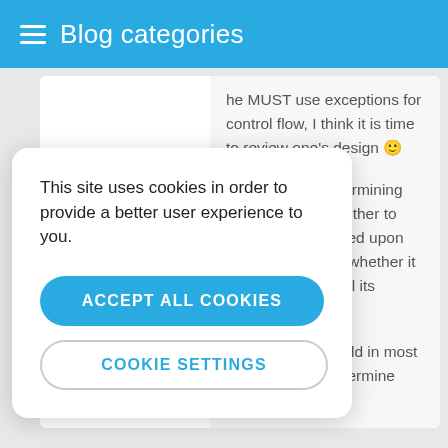Blog categories
he MUST use exceptions for control flow, I think it is time to review one's design 🙂

That requires determining ahead of time whether to call a method based upon foreknowledge of whether it will be able to fulfill its contract. It's valuable callers should in most cases be able determine that.
September 21, 2017
This site uses cookies in order to provide a better user experience to you.
ACCEPT ALL COOKIES
COOKIE SETTINGS